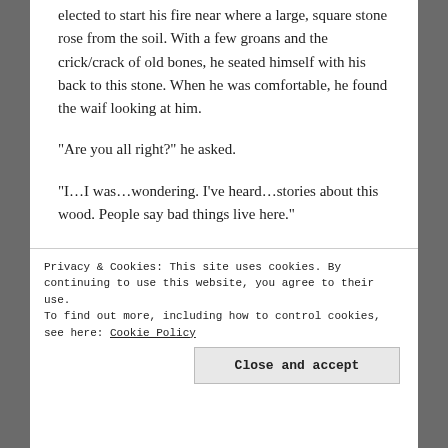elected to start his fire near where a large, square stone rose from the soil. With a few groans and the crick/crack of old bones, he seated himself with his back to this stone. When he was comfortable, he found the waif looking at him.
“Are you all right?” he asked.
“I…I was…wondering. I’ve heard…stories about this wood. People say bad things live here.”
The wizard chuckled. “No need to worry.” He lifted
Privacy & Cookies: This site uses cookies. By continuing to use this website, you agree to their use.
To find out more, including how to control cookies, see here: Cookie Policy
Close and accept